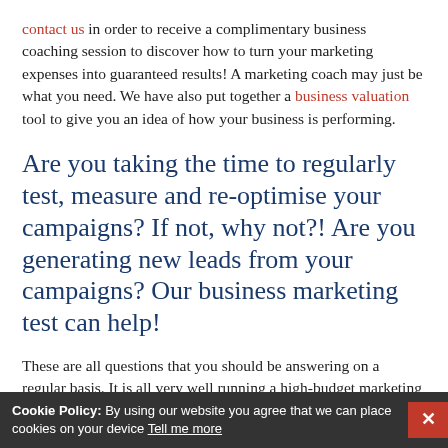contact us in order to receive a complimentary business coaching session to discover how to turn your marketing expenses into guaranteed results! A marketing coach may just be what you need. We have also put together a business valuation tool to give you an idea of how your business is performing.
Are you taking the time to regularly test, measure and re-optimise your campaigns? If not, why not?! Are you generating new leads from your campaigns? Our business marketing test can help!
These are all questions that you should be answering on a regular basis. It is all very well running a high-budget marketing campaign, but if you are not measuring the ... in the campaign, how will y...
Cookie Policy: By using our website you agree that we can place cookies on your device Tell me more